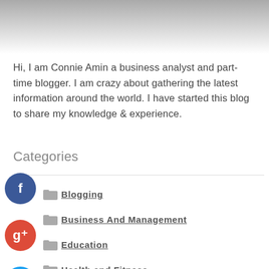[Figure (photo): Black and white photo of a person, cropped to show upper body/neck area]
Hi, I am Connie Amin a business analyst and part-time blogger. I am crazy about gathering the latest information around the world. I have started this blog to share my knowledge & experience.
Categories
Blogging
Business And Management
Education
Health and Fitness
Home and Garden
Legal